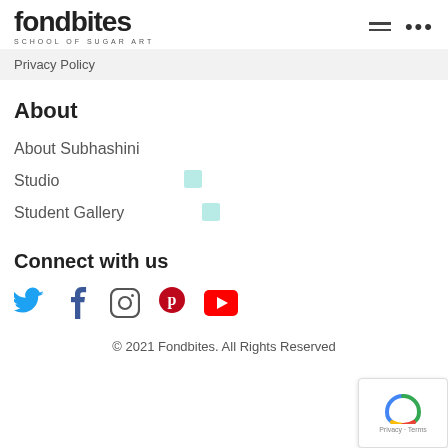fondbites SCHOOL OF SUGAR ART
Privacy Policy
About
About Subhashini
Studio
Student Gallery
Connect with us
[Figure (infographic): Social media icons row: Twitter (blue bird), Facebook (dark f), Instagram (camera outline), Pinterest (red P), YouTube (red play button)]
© 2021 Fondbites. All Rights Reserved